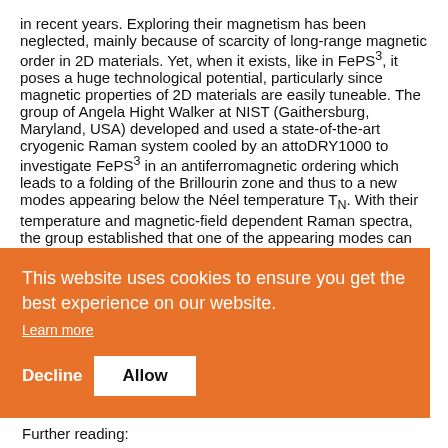in recent years. Exploring their magnetism has been neglected, mainly because of scarcity of long-range magnetic order in 2D materials. Yet, when it exists, like in FePS³, it poses a huge technological potential, particularly since magnetic properties of 2D materials are easily tuneable. The group of Angela Hight Walker at NIST (Gaithersburg, Maryland, USA) developed and used a state-of-the-art cryogenic Raman system cooled by an attoDRY1000 to investigate FePS³ in an antiferromagnetic ordering which leads to a folding of the Brillourin zone and thus to a new modes appearing below the Néel temperature T_N. With their temperature and magnetic-field dependent Raman spectra, the group established that one of the appearing modes can only be explained as a
[Figure (screenshot): Cookie consent overlay banner with orange background. Text reads 'This website uses cookies to ensure you get the best experience on our website.' with a 'Learn more' link, and two buttons: 'Decline' and 'Allow'.]
...ptions. ...n order ...o the ...agnon
...o, and
Further reading: